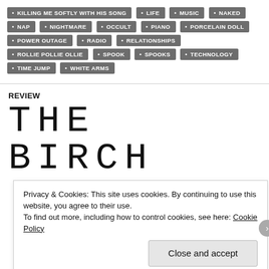KILLING ME SOFTLY WITH HIS SONG
LIFE
MUSIC
NAKED
NAP
NIGHTMARE
OCCULT
PIANO
PORCELAIN DOLL
POWER OUTAGE
RADIO
RELATIONSHIPS
ROLLIE POLLIE OLLIE
SPOOK
SPOOKS
TECHNOLOGY
TIME JUMP
WHITE ARMS
REVIEW
THE BIRCH
Privacy & Cookies: This site uses cookies. By continuing to use this website, you agree to their use.
To find out more, including how to control cookies, see here: Cookie Policy